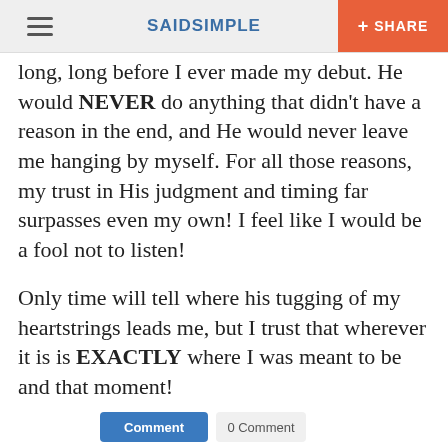SAIDSIMPLE  + SHARE
long, long before I ever made my debut.  He would NEVER do anything that didn't have a reason in the end, and He would never leave me hanging by myself.  For all those reasons, my trust in His judgment and timing far surpasses even my own!  I feel like I would be a fool not to listen!
Only time will tell where his tugging of my heartstrings leads me, but I trust that wherever it is is EXACTLY where I was meant to be and that moment!
That's why You are as awesome as You are, God!